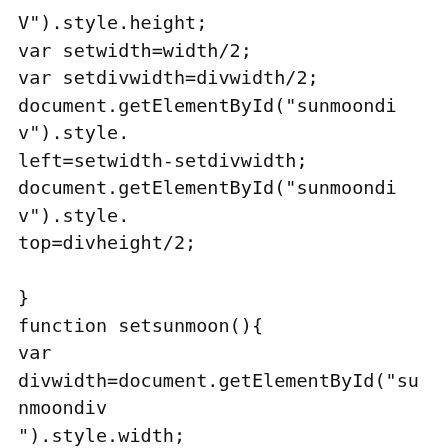V").style.height;
var setwidth=width/2;
var setdivwidth=divwidth/2;
document.getElementById("sunmoondiv").style.left=setwidth-setdivwidth;
document.getElementById("sunmoondiv").style.top=divheight/2;

}
function setsunmoon(){
var divwidth=document.getElementById("sunmoondiv").style.width;
var sunwidth=document.getElementById("sun").style.width;
var moonwidth=document.getElementById("moon").style.width;